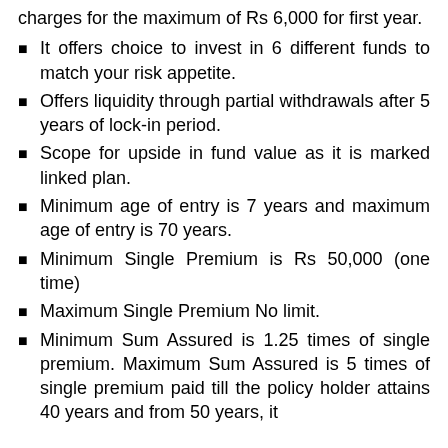charges for the maximum of Rs 6,000 for first year.
It offers choice to invest in 6 different funds to match your risk appetite.
Offers liquidity through partial withdrawals after 5 years of lock-in period.
Scope for upside in fund value as it is marked linked plan.
Minimum age of entry is 7 years and maximum age of entry is 70 years.
Minimum Single Premium is Rs 50,000 (one time)
Maximum Single Premium No limit.
Minimum Sum Assured is 1.25 times of single premium. Maximum Sum Assured is 5 times of single premium paid till the policy holder attains 40 years and from 50 years, it